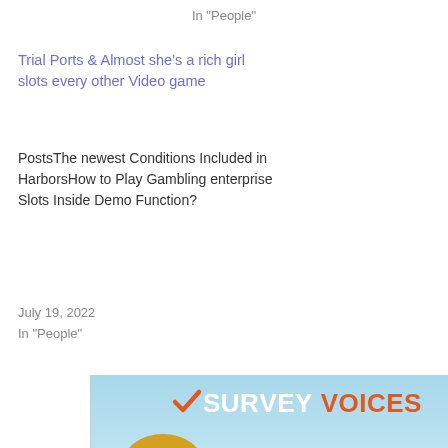In "People"
Trial Ports & Almost she's a rich girl slots every other Video game
PostsThe newest Conditions Included in HarborsHow to Play Gambling enterprise Slots Inside Demo Function?
July 19, 2022
In "People"
[Figure (illustration): Survey Voices advertisement banner with a smiling woman holding a coffee mug. Text reads: SURVEY VOICES YES, IT'S TRUE! Earn $350+* taking surveys and other money-making opportunities.]